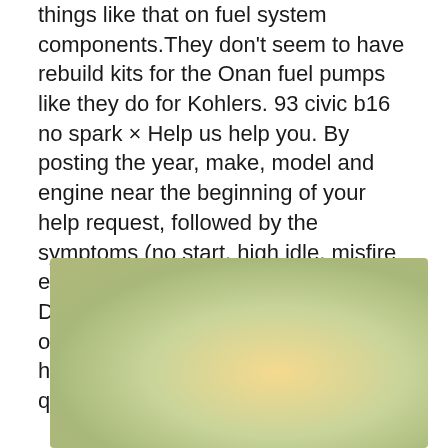things like that on fuel system components. They don't seem to have rebuild kits for the Onan fuel pumps like they do for Kohlers. 93 civic b16 no spark × Help us help you. By posting the year, make, model and engine near the beginning of your help request, followed by the symptoms (no start, high idle, misfire etc.) Along with any prevalent Diagnostic Trouble Codes, aka DTCs, other forum members will be able to help you get to a solution more quickly and easily!
[Figure (photo): A photograph showing a gradient background with green and yellow/golden tones, partially visible at the bottom of the page.]